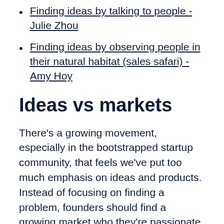Finding ideas by talking to people - Julie Zhou
Finding ideas by observing people in their natural habitat (sales safari) - Amy Hoy
Ideas vs markets
There's a growing movement, especially in the bootstrapped startup community, that feels we've put too much emphasis on ideas and products. Instead of focusing on finding a problem, founders should find a growing market who they're passionate about helping. The market should be easy to reach and have enough money to support your business.
The wrong way to find a SaaS idea (start with a market instead) - Amy Hoy